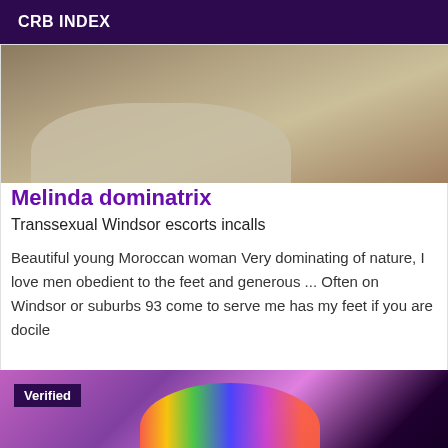CRB INDEX
[Figure (photo): Photo of a bed with pillows and white linens, dimly lit]
Melinda dominatrix
Transsexual Windsor escorts incalls
Beautiful young Moroccan woman Very dominating of nature, I love men obedient to the feet and generous ... Often on Windsor or suburbs 93 come to serve me has my feet if you are docile
[Figure (photo): Photo of a blonde woman wearing a colorful striped turtleneck outfit under purple/pink neon lighting, with a Verified badge overlay]